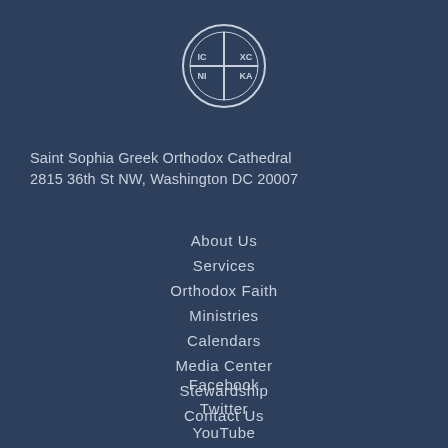[Figure (logo): Saint Sophia Greek Orthodox Cathedral circular seal/logo with a cross inscribed with IC XC NI KA in four quadrants, white on dark navy background]
Saint Sophia Greek Orthodox Cathedral
2815 36th St NW, Washington DC 20007
About Us
Services
Orthodox Faith
Ministries
Calendars
Media Center
Stewardship
Contact Us
Facebook
Twitter
YouTube